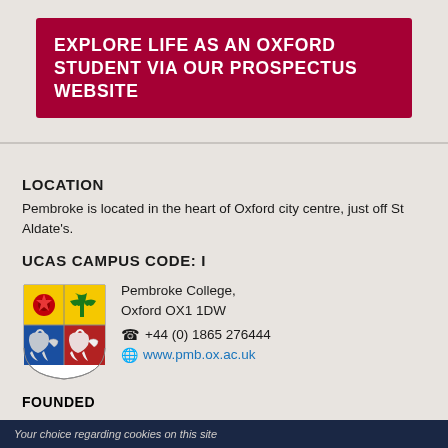EXPLORE LIFE AS AN OXFORD STUDENT VIA OUR PROSPECTUS WEBSITE
LOCATION
Pembroke is located in the heart of Oxford city centre, just off St Aldate's.
UCAS CAMPUS CODE: I
[Figure (logo): Pembroke College coat of arms / shield logo]
Pembroke College,
Oxford OX1 1DW
+44 (0) 1865 276444
www.pmb.ox.ac.uk
FOUNDED
Your choice regarding cookies on this site